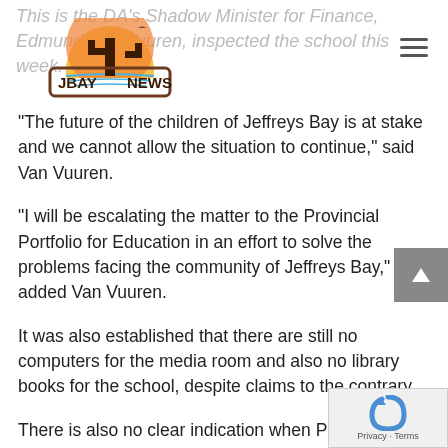JBay News
"The future of the children of Jeffreys Bay is at stake and we cannot allow the situation to continue," said Van Vuuren.
"I will be escalating the matter to the Provincial Portfolio for Education in an effort to solve the problems facing the community of Jeffreys Bay," added Van Vuuren.
It was also established that there are still no computers for the media room and also no library books for the school, despite claims to the contrary.
There is also no clear indication when Phase Two of the school will be built and it is a matter of time when the